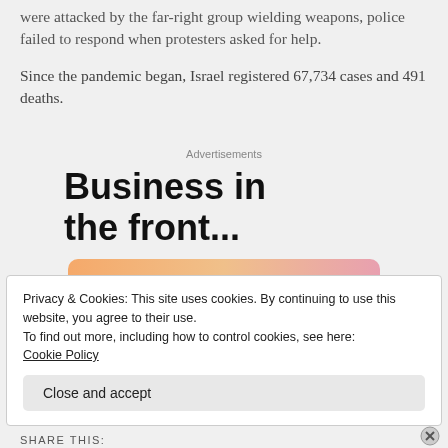were attacked by the far-right group wielding weapons, police failed to respond when protesters asked for help.
Since the pandemic began, Israel registered 67,734 cases and 491 deaths.
[Figure (screenshot): Advertisement section with headline 'Business in the front...' and WordPress banner with gradient orange-pink background]
Privacy & Cookies: This site uses cookies. By continuing to use this website, you agree to their use.
To find out more, including how to control cookies, see here:
Cookie Policy
Close and accept
SHARE THIS: